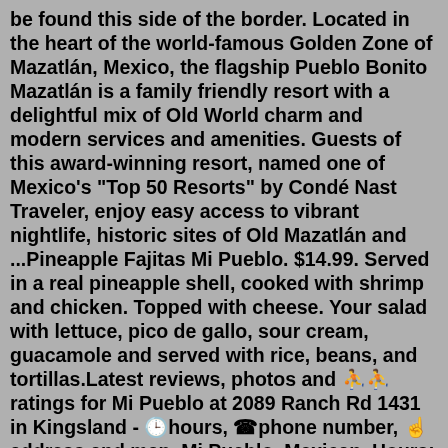be found this side of the border. Located in the heart of the world-famous Golden Zone of Mazatlán, Mexico, the flagship Pueblo Bonito Mazatlán is a family friendly resort with a delightful mix of Old World charm and modern services and amenities. Guests of this award-winning resort, named one of Mexico's "Top 50 Resorts" by Condé Nast Traveler, enjoy easy access to vibrant nightlife, historic sites of Old Mazatlán and ...Pineapple Fajitas Mi Pueblo. $14.99. Served in a real pineapple shell, cooked with shrimp and chicken. Topped with cheese. Your salad with lettuce, pico de gallo, sour cream, guacamole and served with rice, beans, and tortillas.Latest reviews, photos and 🔲🔲ratings for Mi Pueblo at 2089 Ranch Rd 1431 in Kingsland - 🔲hours, 📞phone number, 📍address and map. Mi Pueblo. Mexican. Hours: 2089 Ranch Rd 1431, Kingsland (325) 388-0931. Ratings. Google. 4.3. Facebook. 3.9. Reviews for Mi Pueblo. April 2022. blowout book View the online menu of Mi Pueblo West Memphis and other restaurants in West Memphis, Arkansas. Mi Pueblo West Memphis...